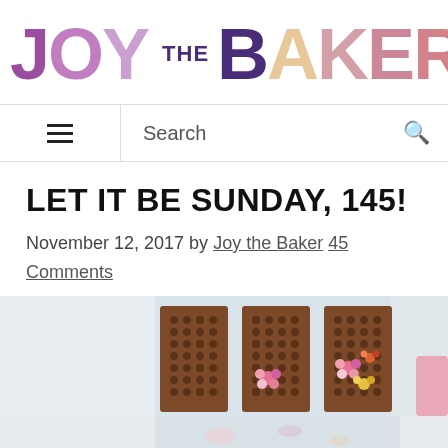JOY THE BAKER
Search
LET IT BE SUNDAY, 145!
November 12, 2017 by Joy the Baker 45 Comments
[Figure (photo): Three wooden pegboard panels with small circular holes, decorated with pink and colorful flowers, displayed on a light blue/white wall with a reflective surface below.]